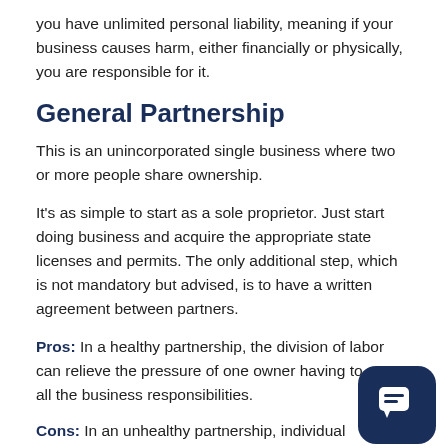you have unlimited personal liability, meaning if your business causes harm, either financially or physically, you are responsible for it.
General Partnership
This is an unincorporated single business where two or more people share ownership.
It’s as simple to start as a sole proprietor. Just start doing business and acquire the appropriate state licenses and permits. The only additional step, which is not mandatory but advised, is to have a written agreement between partners.
Pros: In a healthy partnership, the division of labor can relieve the pressure of one owner having to carry all the business responsibilities.
Cons: In an unhealthy partnership, individual perceptions can form as to which partner is doing more, and the other partner is not carrying the